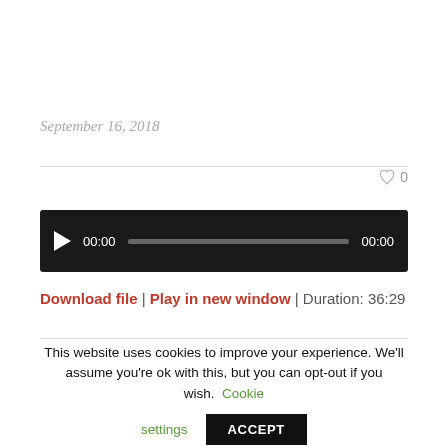September 16, 2018
♡ 0
[Figure (other): Audio player with play button, time display 00:00, progress bar, and end time 00:00 on dark background]
Download file | Play in new window | Duration: 36:29
This website uses cookies to improve your experience. We'll assume you're ok with this, but you can opt-out if you wish. Cookie settings ACCEPT